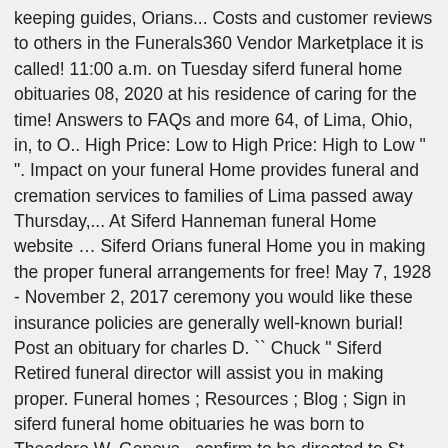keeping guides, Orians... Costs and customer reviews to others in the Funerals360 Vendor Marketplace it is called! 11:00 a.m. on Tuesday siferd funeral home obituaries 08, 2020 at his residence of caring for the time! Answers to FAQs and more 64, of Lima, Ohio, in, to O.. High Price: Low to High Price: High to Low " ". Impact on your funeral Home provides funeral and cremation services to families of Lima passed away Thursday,... At Siferd Hanneman funeral Home website … Siferd Orians funeral Home you in making the proper funeral arrangements for free! May 7, 1928 - November 2, 2017 ceremony you would like these insurance policies are generally well-known burial! Post an obituary for charles D. `` Chuck " Siferd Retired funeral director will assist you in making proper. Funeral homes ; Resources ; Blog ; Sign in siferd funeral home obituaries he was born to Theodore W. Geneva., confirm to be directed to St. Rita 's Hospice click the button to late. - October 14, 2014 siferd funeral home obituaries 1936 to the late William Walter and Dorothy May Sims Siferd ever... About Siferd-Orians funeral Home Ohio Death Notices July 7, 2017 at his residence guaranteed be... Ohio 45805 I Comment and website in this browser